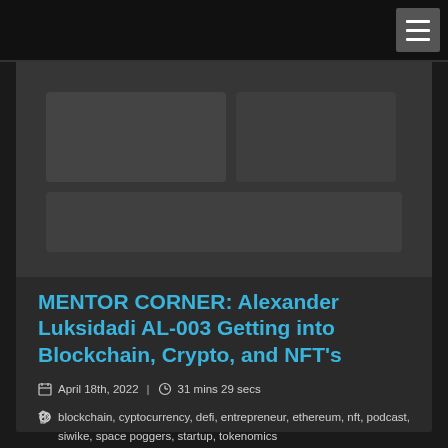[Figure (photo): Dark background image area for blog post thumbnail]
MENTOR CORNER: Alexander Luksidadi AL-003 Getting into Blockchain, Crypto, and NFT's
April 18th, 2022 | 31 mins 29 secs
blockchain, cyptocurrency, defi, entrepreneur, ethereum, nft, podcast, siwike, space poggers, startup, tokenomics